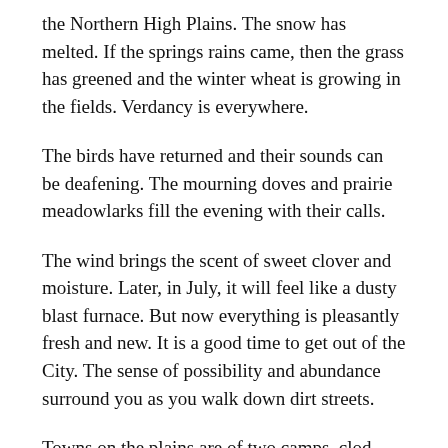the Northern High Plains. The snow has melted. If the springs rains came, then the grass has greened and the winter wheat is growing in the fields. Verdancy is everywhere.
The birds have returned and their sounds can be deafening. The mourning doves and prairie meadowlarks fill the evening with their calls.
The wind brings the scent of sweet clover and moisture. Later, in July, it will feel like a dusty blast furnace. But now everything is pleasantly fresh and new. It is a good time to get out of the City. The sense of possibility and abundance surround you as you walk down dirt streets.
Towns on the plains are of two camps, clod hopper towns or shit kicker towns. This roughly divides them between towns that rely on farming and those